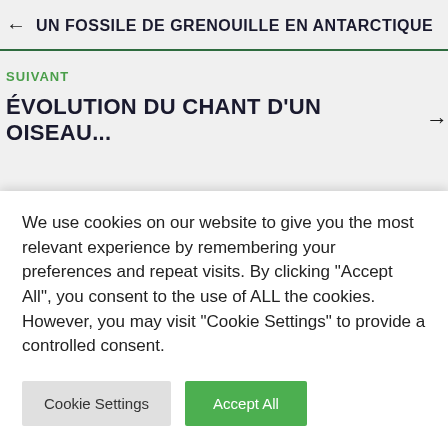← UN FOSSILE DE GRENOUILLE EN ANTARCTIQUE
SUIVANT
ÉVOLUTION DU CHANT D'UN OISEAU... →
MES CLICHÉS PRÉFÉRÉS
We use cookies on our website to give you the most relevant experience by remembering your preferences and repeat visits. By clicking "Accept All", you consent to the use of ALL the cookies. However, you may visit "Cookie Settings" to provide a controlled consent.
Cookie Settings | Accept All